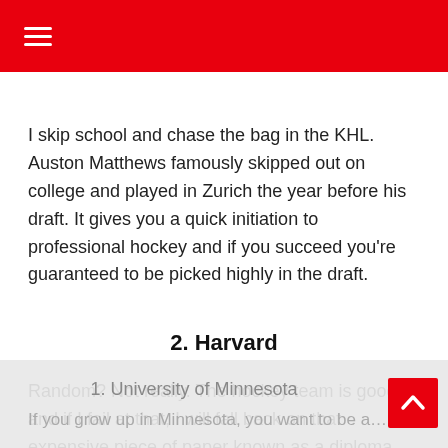≡
I skip school and chase the bag in the KHL. Auston Matthews famously skipped out on college and played in Zurich the year before his draft. It gives you a quick initiation to professional hockey and if you succeed you're guaranteed to be picked highly in the draft.
2. Harvard
Random? Not really. The hockey team is good and if I fail at that, I will fall back on that expensive piece of paper known as a diploma. Also, the old rinks on the east coast make it a lot of fun to play in.
1. University of Minnesota
If you grow up in Minnesota, you want to be a Gopher. Everyone